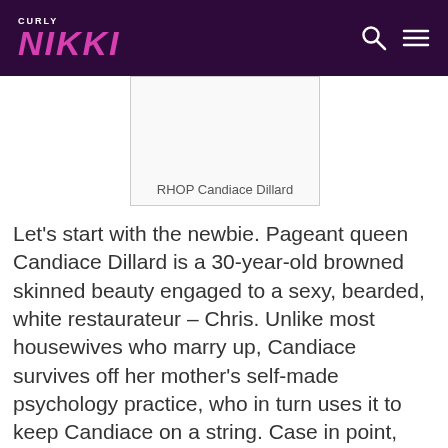CURLY NIKKI
RHOP Candiace Dillard
Let's start with the newbie. Pageant queen Candiace Dillard is a 30-year-old browned skinned beauty engaged to a sexy, bearded, white restaurateur – Chris. Unlike most housewives who marry up, Candiace survives off her mother's self-made psychology practice, who in turn uses it to keep Candiace on a string. Case in point, mom's paying for the wedding and Candiace and Chris live in a home that mom owns with…